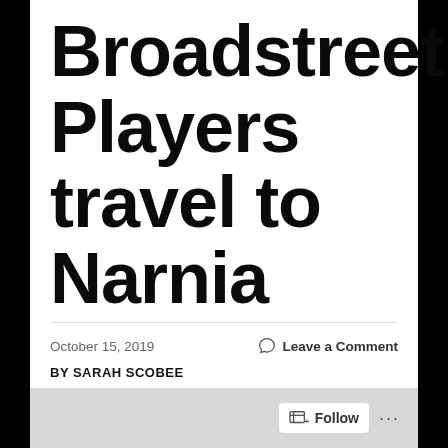Broadstreet Players travel to Narnia
October 15, 2019
Leave a Comment
BY SARAH SCOBEE
Find your closest lamppost because The